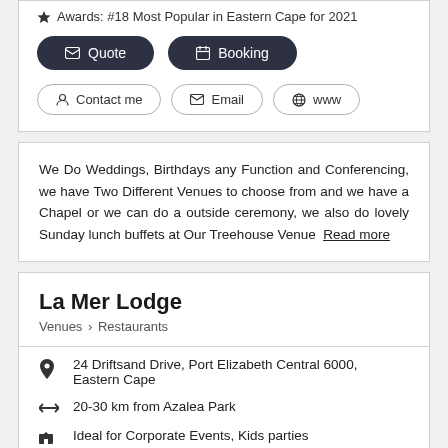Awards: #18 Most Popular in Eastern Cape for 2021
Quote | Booking
Contact me | Email | www
We Do Weddings, Birthdays any Function and Conferencing, we have Two Different Venues to choose from and we have a Chapel or we can do a outside ceremony, we also do lovely Sunday lunch buffets at Our Treehouse Venue  Read more
La Mer Lodge
Venues > Restaurants
24 Driftsand Drive, Port Elizabeth Central 6000, Eastern Cape
20-30 km from Azalea Park
Ideal for Corporate Events, Kids parties